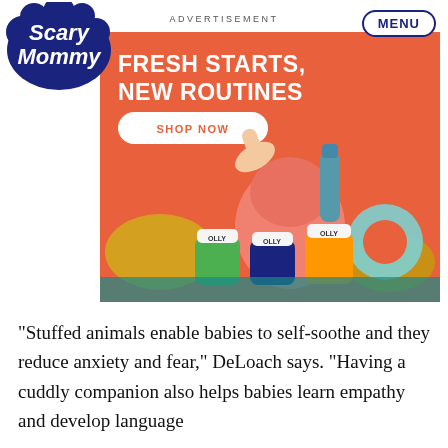[Figure (logo): Scary Mommy logo in dark blue handwritten style font]
ADVERTISEMENT
[Figure (photo): Advertisement banner with orange/coral background showing OLLY vitamin products, a pink backpack, headphones, yarn, and a person's hand. Text reads: FRESH STARTS, NEW ROUTINES with a SHOP NOW button.]
“Stuffed animals enable babies to self-soothe and they reduce anxiety and fear,” DeLoach says. “Having a cuddly companion also helps babies learn empathy and develop language